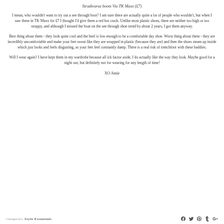Stradivarus boots Via TK Maxx (£7)
I mean, who wouldn't want to try out a see through boot? I am sure there are actually quite a lot of people who wouldn't, but when I saw these in TK Maxx for £7 I thought I'd give them a red hot crack. Unlike most plastic shoes, there are neither too high or too strappy, and although I missed the boat on the see through shoe trend by about 2 years, I got them anyway.
Best thing about them - they look quite cool and the heel is low enough to be a comfortable day shoe. Worst thing about them - they are incredibly uncomfortable and make your feet sweat like they are wrapped in plastic (because they are) and then the shoes steam up inside which just looks and feels disgusting, as your feet feel constantly damp. There is a real risk of trenchfoot with these baddies.
Will I wear again? I have kept them in my wardrobe because all ick factor aside, I do actually like the way they look. Maybe good for a night out, but definitely not for wearing for any length of time!
XO Amie
Categories: Style Essentials